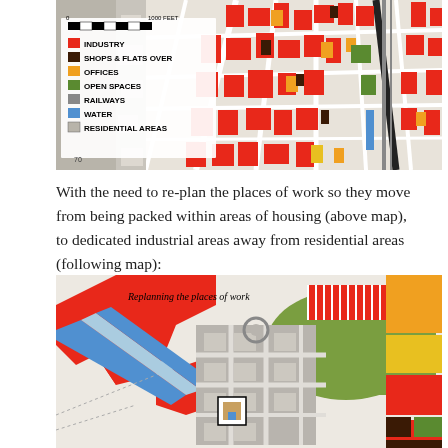[Figure (map): Colour-coded land-use map of a dense urban area showing industry (red), shops & flats over (dark brown/black), offices (orange/yellow), open spaces (green), railways (grey), water (blue), and residential areas (light grey). A legend in the upper-left lists these categories with colour swatches. A scale bar reads '0 ... 1000 FEET'.]
With the need to re-plan the places of work so they move from being packed within areas of housing (above map), to dedicated industrial areas away from residential areas (following map):
[Figure (map): Colour-coded planning map titled 'Replanning the places of work' showing a redesigned urban layout with large red industrial zones, green open spaces, grey residential/road areas, blue water/canal strips, yellow/orange areas for other uses, and dark brown zones for shops & flats over. The map shows separation of industrial areas from residential zones.]